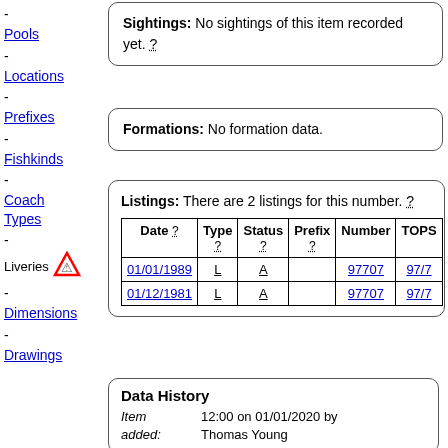-
Pools
Sightings: No sightings of this item recorded yet. ?
-
Locations
Formations: No formation data.
-
Prefixes
-
Fishkinds
Listings: There are 2 listings for this number. ?
| Date ? | Type ? | Status ? | Prefix ? | Number | TOPS |
| --- | --- | --- | --- | --- | --- |
| 01/01/1989 | L | A |  | 97707 | 97/7 |
| 01/12/1981 | L | A |  | 97707 | 97/7 |
-
Coach Types
-
Liveries
-
Dimensions
-
Drawings
Data History
Item added: 12:00 on 01/01/2020 by Thomas Young